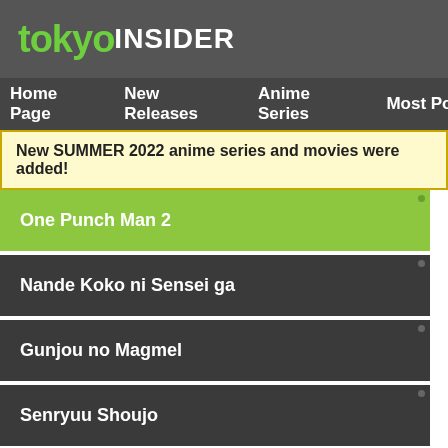tokyoiNSiDER
Home Page   New Releases   Anime Series   Most Po
New SUMMER 2022 anime series and movies were added!
One Punch Man 2
Nande Koko ni Sensei ga
Gunjou no Magmel
Senryuu Shoujo
RobiHachi
TIN > Anime Series > L > Love Live! Nijigasaki Gakuen School Idol Doukoukai 2nd Season (TV)
Information
Title(s):   Love Live! Nijigasaki Gakuen School Idol Doukoukai 2nd Season